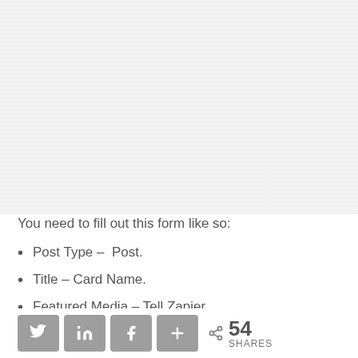[Figure (screenshot): Blurred/redacted screenshot of a form interface occupying the top portion of the page]
You need to fill out this form like so:
Post Type –  Post.
Title – Card Name.
Featured Media – Tell Zapier
Social share bar with Twitter, LinkedIn, Facebook, More buttons and 54 SHARES